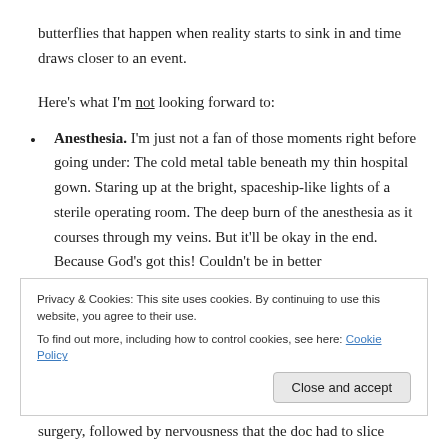butterflies that happen when reality starts to sink in and time draws closer to an event.
Here's what I'm not looking forward to:
Anesthesia. I'm just not a fan of those moments right before going under: The cold metal table beneath my thin hospital gown. Staring up at the bright, spaceship-like lights of a sterile operating room. The deep burn of the anesthesia as it courses through my veins. But it'll be okay in the end. Because God's got this! Couldn't be in better
Privacy & Cookies: This site uses cookies. By continuing to use this website, you agree to their use.
To find out more, including how to control cookies, see here: Cookie Policy
surgery, followed by nervousness that the doc had to slice